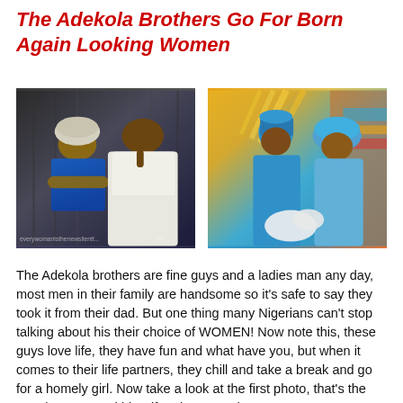The Adekola Brothers Go For Born Again Looking Women
[Figure (photo): Left photo: a couple in traditional Nigerian attire — a woman in blue lace and white gele headwrap with arms crossed, and a man in white agbada posing with finger to chin, against a dark curtain background.]
[Figure (photo): Right photo: a couple in blue traditional Nigerian outfits — a man wearing a blue fila cap and orange coral beaded necklace, and a woman wearing a blue gele headwrap, at what appears to be a traditional ceremony.]
The Adekola brothers are fine guys and a ladies man any day, most men in their family are handsome so it's safe to say they took it from their dad. But one thing many Nigerians can't stop talking about his their choice of WOMEN! Now note this, these guys love life, they have fun and what have you, but when it comes to their life partners, they chill and take a break and go for a homely girl. Now take a look at the first photo, that's the popular actor and his wife. The second